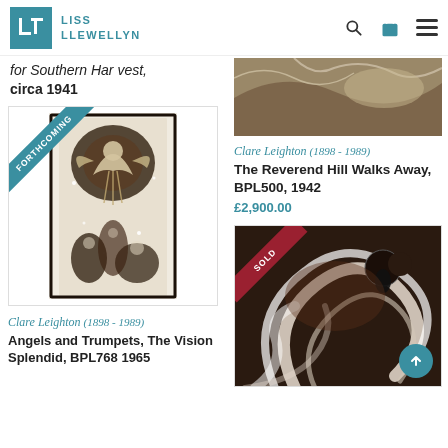Liss Llewellyn
for Southern Har vest, circa 1941
[Figure (illustration): Monochrome artwork illustration with FORTHCOMING banner, showing angels and trumpets imagery]
Clare Leighton (1898 - 1989)
Angels and Trumpets, The Vision Splendid, BPL768 1965
[Figure (photo): Top partial view of monochrome artwork]
Clare Leighton (1898 - 1989)
The Reverend Hill Walks Away, BPL500, 1942
£2,900.00
[Figure (illustration): Artwork with SOLD banner, showing dark swirling abstract/figurative composition]